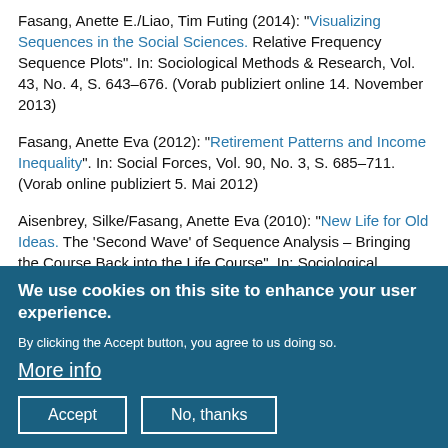Fasang, Anette E./Liao, Tim Futing (2014): "Visualizing Sequences in the Social Sciences. Relative Frequency Sequence Plots". In: Sociological Methods & Research, Vol. 43, No. 4, S. 643–676. (Vorab publiziert online 14. November 2013)
Fasang, Anette Eva (2012): "Retirement Patterns and Income Inequality". In: Social Forces, Vol. 90, No. 3, S. 685–711. (Vorab online publiziert 5. Mai 2012)
Aisenbrey, Silke/Fasang, Anette Eva (2010): "New Life for Old Ideas. The 'Second Wave' of Sequence Analysis – Bringing the Course Back into the Life Course". In: Sociological Methods & Research, Vol. 38, No. 3, S. 420–462.
Guests
We use cookies on this site to enhance your user experience. By clicking the Accept button, you agree to us doing so. More info